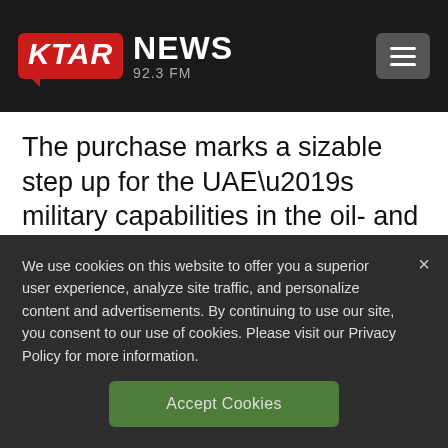KTAR NEWS 92.3 FM
The purchase marks a sizable step up for the UAE’s military capabilities in the oil- and gas-rich region. Charles Forrester, a senior analyst at Janes, said the fighter “will significantly upgrade UAE’s airpower
We use cookies on this website to offer you a superior user experience, analyze site traffic, and personalize content and advertisements. By continuing to use our site, you consent to our use of cookies. Please visit our Privacy Policy for more information.
Accept Cookies